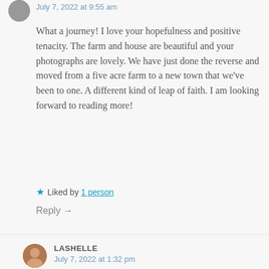July 7, 2022 at 9:55 am
What a journey! I love your hopefulness and positive tenacity. The farm and house are beautiful and your photographs are lovely. We have just done the reverse and moved from a five acre farm to a new town that we've been to one. A different kind of leap of faith. I am looking forward to reading more!
★ Liked by 1 person
Reply →
LASHELLE
July 7, 2022 at 1:32 pm
I can't wait to share more with you! That's really amazing that you guys did the opposite but I